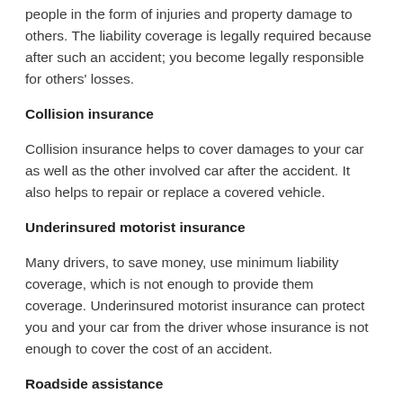people in the form of injuries and property damage to others. The liability coverage is legally required because after such an accident; you become legally responsible for others' losses.
Collision insurance
Collision insurance helps to cover damages to your car as well as the other involved car after the accident. It also helps to repair or replace a covered vehicle.
Underinsured motorist insurance
Many drivers, to save money, use minimum liability coverage, which is not enough to provide them coverage. Underinsured motorist insurance can protect you and your car from the driver whose insurance is not enough to cover the cost of an accident.
Roadside assistance
As the name describes, roadside assistance insurance is